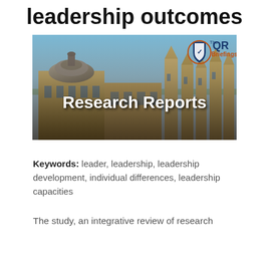leadership outcomes
[Figure (photo): Photograph of a university building (likely Oxford) with domed architecture and Gothic towers under a blue sky. Overlaid text reads 'Research Reports' in bold white. Top-right shows a shield logo with 'QR Briefings' branding in blue and orange.]
Keywords: leader, leadership, leadership development, individual differences, leadership capacities
The study, an integrative review of research